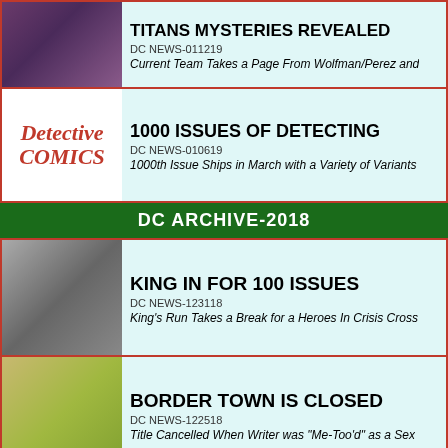TITANS MYSTERIES REVEALED
DC NEWS-011219
Current Team Takes a Page From Wolfman/Perez and
1000 ISSUES OF DETECTING
DC NEWS-010619
1000th Issue Ships in March with a Variety of Variants
DC ARCHIVE-2018
KING IN FOR 100 ISSUES
DC NEWS-123118
King's Run Takes a Break for a Heroes In Crisis Cross
BORDER TOWN IS CLOSED
DC NEWS-122518
Title Cancelled When Writer was "Me-Too'd" as a Sex
BLACK LABEL FILLS IN SOME BLAN
DC NEWS-121918
Black Label Line is Dancing in Place for the Time Bei
A QUESTION THAT BRINGS MORE
DC NEWS-121318
Bendis Using Action Comics as his Platform to Shape